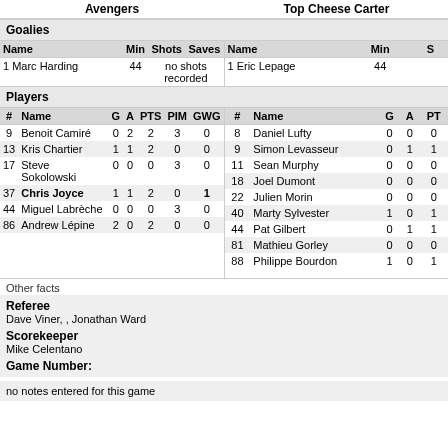Avengers   Top Cheese Carter
Goalies
| Name | Min | Shots | Saves | Name | Min | S |
| --- | --- | --- | --- | --- | --- | --- |
| 1 Marc Harding | 44 | no shots recorded |  | 1 Eric Lepage | 44 |  |
Players
| # | Name | G | A | PTS | PIM | GWG | # | Name | G | A | PT |
| --- | --- | --- | --- | --- | --- | --- | --- | --- | --- | --- | --- |
| 9 | Benoit Camiré | 0 | 2 | 2 | 3 | 0 | 8 | Daniel Lufty | 0 | 0 | 0 |
| 13 | Kris Chartier | 1 | 1 | 2 | 0 | 0 | 9 | Simon Levasseur | 0 | 1 | 1 |
| 17 | Steve Sokolowski | 0 | 0 | 0 | 3 | 0 | 11 | Sean Murphy | 0 | 0 | 0 |
| 37 | Chris Joyce | 1 | 1 | 2 | 0 | 1 | 18 | Joel Dumont | 0 | 0 | 0 |
| 44 | Miguel Labrèche | 0 | 0 | 0 | 3 | 0 | 22 | Julien Morin | 0 | 0 | 0 |
| 86 | Andrew Lépine | 2 | 0 | 2 | 0 | 0 | 40 | Marty Sylvester | 1 | 0 | 1 |
|  |  |  |  |  |  |  | 44 | Pat Gilbert | 0 | 1 | 1 |
|  |  |  |  |  |  |  | 81 | Mathieu Gorley | 0 | 0 | 0 |
|  |  |  |  |  |  |  | 88 | Philippe Bourdon | 1 | 0 | 1 |
Other facts
Referee
Dave Viner, , Jonathan Ward
Scorekeeper
Mike Celentano
Game Number:
no notes entered for this game